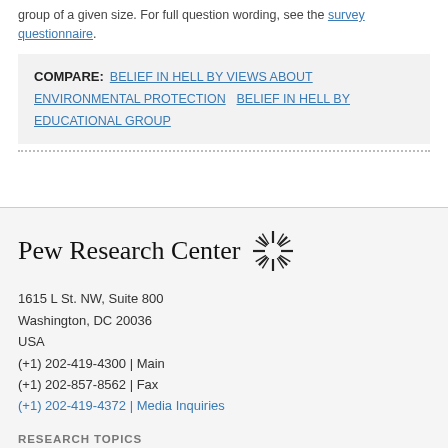group of a given size. For full question wording, see the survey questionnaire.
COMPARE: BELIEF IN HELL BY VIEWS ABOUT ENVIRONMENTAL PROTECTION   BELIEF IN HELL BY EDUCATIONAL GROUP
Pew Research Center
1615 L St. NW, Suite 800
Washington, DC 20036
USA
(+1) 202-419-4300 | Main
(+1) 202-857-8562 | Fax
(+1) 202-419-4372 | Media Inquiries
RESEARCH TOPICS
Politics & Policy   Family & Relationships